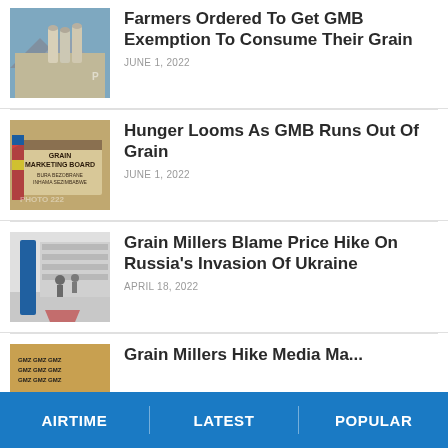[Figure (photo): Photo of grain silos or storage building exterior]
Farmers Ordered To Get GMB Exemption To Consume Their Grain
JUNE 1, 2022
[Figure (photo): Photo of Grain Marketing Board sign]
Hunger Looms As GMB Runs Out Of Grain
JUNE 1, 2022
[Figure (photo): Photo of grain store or shop interior with blue pillar]
Grain Millers Blame Price Hike On Russia’s Invasion Of Ukraine
APRIL 18, 2022
[Figure (photo): Partially visible fourth article thumbnail]
Grain Millers Hike Media Ma...
AIRTIME   LATEST   POPULAR